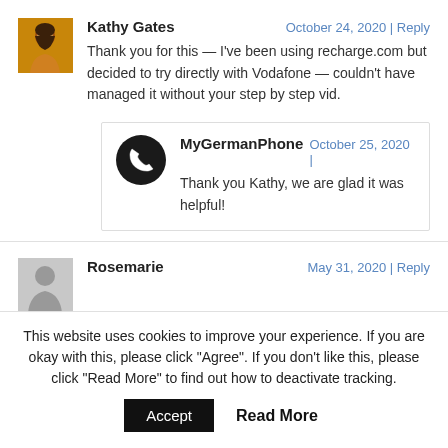Kathy Gates
October 24, 2020 | Reply
Thank you for this — I've been using recharge.com but decided to try directly with Vodafone — couldn't have managed it without your step by step vid.
MyGermanPhone
October 25, 2020 |
Thank you Kathy, we are glad it was helpful!
Rosemarie
May 31, 2020 | Reply
This website uses cookies to improve your experience. If you are okay with this, please click "Agree". If you don't like this, please click "Read More" to find out how to deactivate tracking.
Accept
Read More